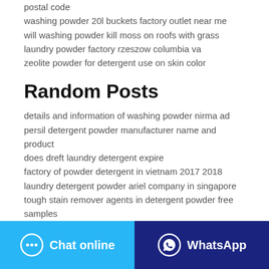postal code
washing powder 20l buckets factory outlet near me
will washing powder kill moss on roofs with grass
laundry powder factory rzeszow columbia va
zeolite powder for detergent use on skin color
Random Posts
details and information of washing powder nirma ad
persil detergent powder manufacturer name and product
does dreft laundry detergent expire
factory of powder detergent in vietnam 2017 2018
laundry detergent powder ariel company in singapore
tough stain remover agents in detergent powder free samples
washing powder germany made in united states
washing powder high bucket capacity data
uni wash powder price in ph
Chat online | WhatsApp